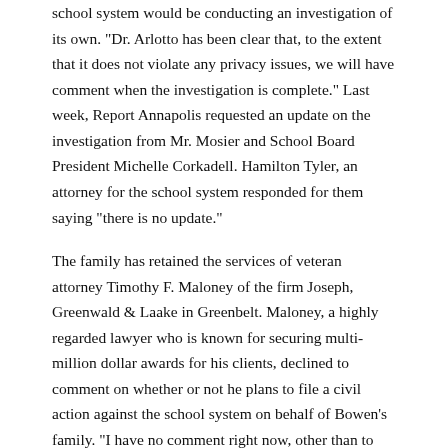school system would be conducting an investigation of its own.  "Dr. Arlotto has been clear that, to the extent that it does not violate any privacy issues, we will have comment when the investigation is complete."  Last week, Report Annapolis requested an update on the investigation from Mr. Mosier and School Board President Michelle Corkadell.  Hamilton Tyler, an attorney for the school system responded for them saying "there is no update."
The family has retained the services of veteran attorney Timothy F. Maloney of the firm Joseph, Greenwald & Laake in Greenbelt.  Maloney, a highly regarded lawyer who is known for securing multi-million dollar awards for his clients, declined to comment on whether or not he plans to file a civil action against the school system on behalf of Bowen's family.  "I have no comment right now, other than to confirm that I represent the family in this matter."